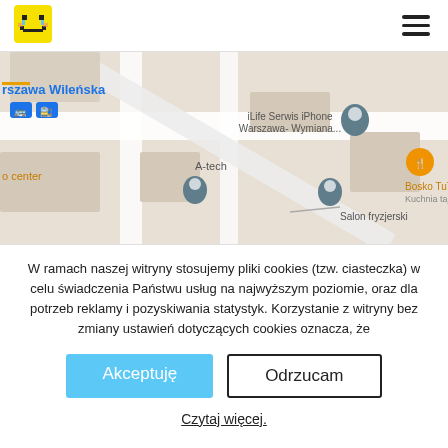[Figure (logo): Yellow pixel-art laughing emoji logo]
[Figure (map): Google Maps screenshot showing Warsaw Wileńska area with markers for iLife Serwis iPhone Warszawa-Wymiana, A-tech, and Salon fryzjerski, plus Bosko TuThai restaurant]
W ramach naszej witryny stosujemy pliki cookies (tzw. ciasteczka) w celu świadczenia Państwu usług na najwyższym poziomie, oraz dla potrzeb reklamy i pozyskiwania statystyk. Korzystanie z witryny bez zmiany ustawień dotyczących cookies oznacza, że
Akceptuję
Odrzucam
Czytaj więcej.